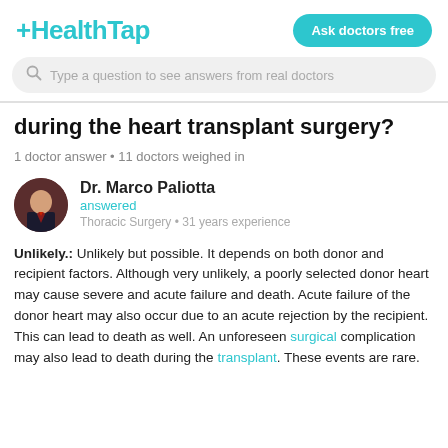HealthTap — Ask doctors free
Type a question to see answers from real doctors
during the heart transplant surgery?
1 doctor answer • 11 doctors weighed in
Dr. Marco Paliotta
answered
Thoracic Surgery • 31 years experience
Unlikely.: Unlikely but possible. It depends on both donor and recipient factors. Although very unlikely, a poorly selected donor heart may cause severe and acute failure and death. Acute failure of the donor heart may also occur due to an acute rejection by the recipient. This can lead to death as well. An unforeseen surgical complication may also lead to death during the transplant. These events are rare.